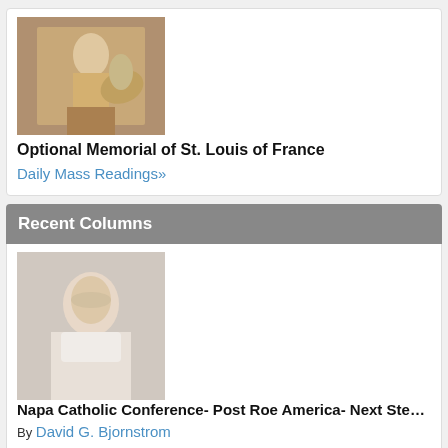[Figure (photo): Painting of St. Louis of France on horseback]
Optional Memorial of St. Louis of France
Daily Mass Readings»
Recent Columns
[Figure (photo): Portrait photo of David G. Bjornstrom, older man smiling]
Napa Catholic Conference- Post Roe America- Next Ste…
By David G. Bjornstrom
[Figure (photo): Portrait photo of author, older man smiling]
BOOK: Uneven Justice, The Plot to Sink Galleon